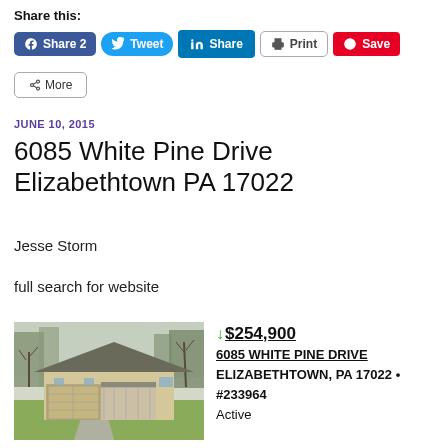Share this:
Share 2 | Tweet | Share | Print | Save | More
JUNE 10, 2015
6085 White Pine Drive Elizabethtown PA 17022
Jesse Storm
full search for website
[Figure (photo): Ranch-style house with attached two-car garage, covered porch, lawn, and bare trees in background]
$254,900
6085 WHITE PINE DRIVE
ELIZABETHTOWN, PA 17022 • #233964
Active